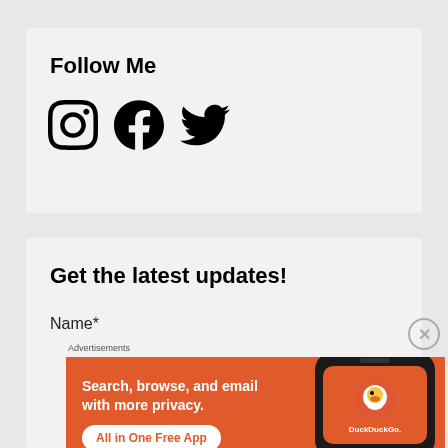Follow Me
[Figure (illustration): Social media icons: Instagram, Facebook, Twitter in black]
Get the latest updates!
Name*
Advertisements
[Figure (infographic): DuckDuckGo advertisement: orange background with text 'Search, browse, and email with more privacy. All in One Free App' and a phone image showing DuckDuckGo logo]